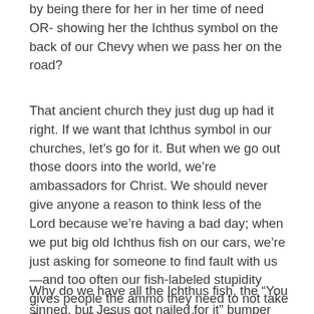by being there for her in her time of need OR- showing her the Ichthus symbol on the back of our Chevy when we pass her on the road?
That ancient church they just dug up had it right. If we want that Ichthus symbol in our churches, let’s go for it. But when we go out those doors into the world, we’re ambassadors for Christ. We should never give anyone a reason to think less of the Lord because we’re having a bad day; when we put big old Ichthus fish on our cars, we’re just asking for someone to find fault with us—and too often our fish-labeled stupidity gives people the ammo they need to not take Christ or His Church seriously.
Why do we have all the Ichthus fish, the “You sinned, but Jesus got nailed for it” bumper